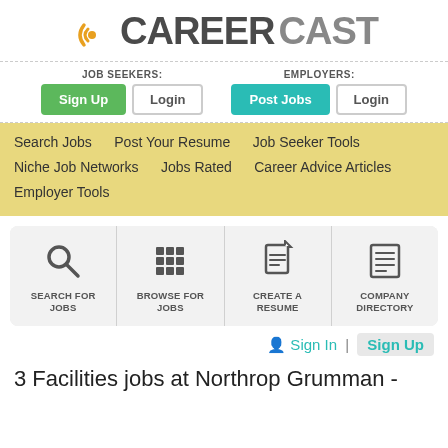[Figure (logo): CareerCast logo with orange radio wave icon and two-tone CAREER (dark) CAST (gray) wordmark]
JOB SEEKERS: Sign Up  Login   EMPLOYERS: Post Jobs  Login
Search Jobs
Post Your Resume
Job Seeker Tools
Niche Job Networks
Jobs Rated
Career Advice Articles
Employer Tools
[Figure (infographic): Four icon tiles: Search For Jobs (magnifying glass), Browse For Jobs (grid), Create A Resume (document), Company Directory (list document)]
Sign In | Sign Up
3 Facilities jobs at Northrop Grumman -